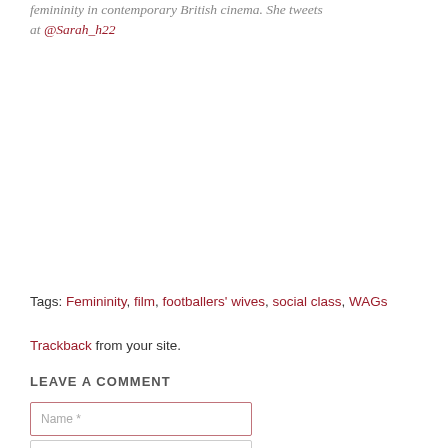femininity in contemporary British cinema. She tweets at @Sarah_h22
Tags: Femininity, film, footballers' wives, social class, WAGs
Trackback from your site.
LEAVE A COMMENT
Name *
Email *